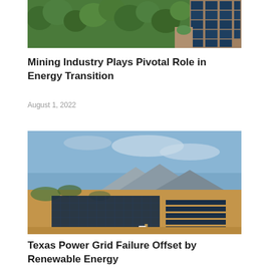[Figure (photo): Aerial view of green trees/forest and solar panels at the edge, seen from above]
Mining Industry Plays Pivotal Role in Energy Transition
August 1, 2022
[Figure (photo): Aerial view of a large solar panel farm in a dry landscape with mountains in the background]
Texas Power Grid Failure Offset by Renewable Energy